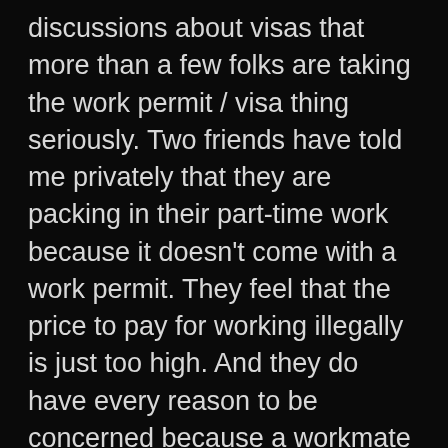discussions about visas that more than a few folks are taking the work permit / visa thing seriously. Two friends have told me privately that they are packing in their part-time work because it doesn't come with a work permit. They feel that the price to pay for working illegally is just too high. And they do have every reason to be concerned because a workmate told me this week of how his apartment building, located in what can best be described as one of the city's outer suburbs, was visited by the local branch of the boys in brown. Do you have any Blacks, Arabs or Farangs living here, the security guard was asked? The police then went and asked to see the visas of the said folks. I wonder what ever happened to the Chinese and other foreign nationals in the building?